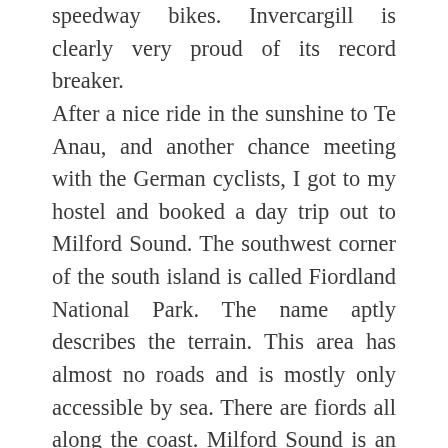speedway bikes. Invercargill is clearly very proud of its record breaker. After a nice ride in the sunshine to Te Anau, and another chance meeting with the German cyclists, I got to my hostel and booked a day trip out to Milford Sound. The southwest corner of the south island is called Fiordland National Park. The name aptly describes the terrain. This area has almost no roads and is mostly only accessible by sea. There are fiords all along the coast. Milford Sound is an exception as there is a road to it and the day trip includes a two hour drive to the landward end of the fiord and then a two hour boat trip, with lunch included. It was time to leave Doris behind and by at point...